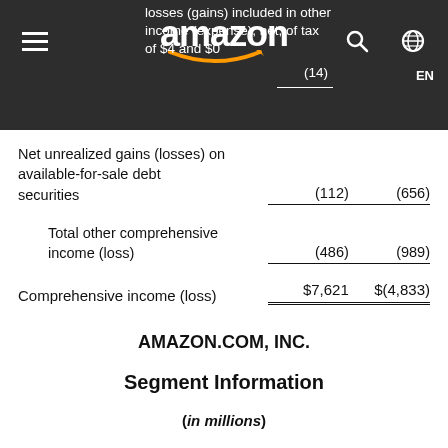losses (gains) included in other income (expense), net, of tax of $4 and $0   (14)
Net unrealized gains (losses) on available-for-sale debt securities   (112)   (656)
Total other comprehensive income (loss)   (486)   (989)
Comprehensive income (loss)   $7,621   $(4,833)
AMAZON.COM, INC.
Segment Information
(in millions)
(unaudited)